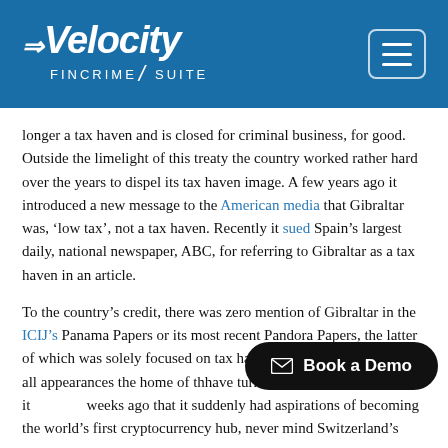[Figure (logo): Velocity Fincrime Suite logo in white on blue header background, with a hamburger menu button on the right]
longer a tax haven and is closed for criminal business, for good. Outside the limelight of this treaty the country worked rather hard over the years to dispel its tax haven image. A few years ago it introduced a new message to the American media that Gibraltar was, ‘low tax’, not a tax haven. Recently it sued Spain’s largest daily, national newspaper, ABC, for referring to Gibraltar as a tax haven in an article.
To the country’s credit, there was zero mention of Gibraltar in the ICIJ’s Panama Papers or its most recent Pandora Papers, the latter of which was solely focused on tax havens for the wealthy. From all appearances the home of th... have turned it around, right? Then it ... weeks ago that it suddenly had aspirations of becoming the world’s first cryptocurrency hub, never mind Switzerland’s